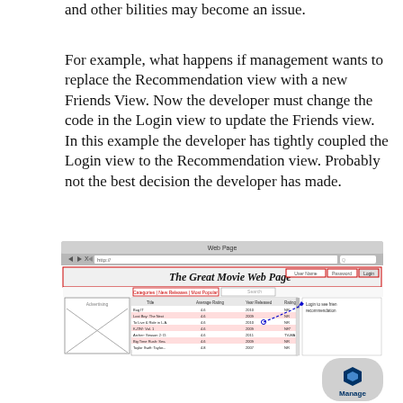and other bilities may become an issue.
For example, what happens if management wants to replace the Recommendation view with a new Friends View. Now the developer must change the code in the Login view to update the Friends view. In this example the developer has tightly coupled the Login view to the Recommendation view. Probably not the best decision the developer has made.
[Figure (screenshot): Screenshot of 'The Great Movie Web Page' browser mockup showing a web page with navigation links (Categories, New Releases, Most Popular), a movie listing table with Title, Average Rating, Year Released, Rating columns, and a 'Login to see friend recommendations' panel on the right. An Advertising placeholder with an X is on the left. The page header shows User Name, Password, and Login fields. A blue dashed arrow points to the Login area. A Packt Publishing logo with 'Manage' text appears in the bottom-right corner.]